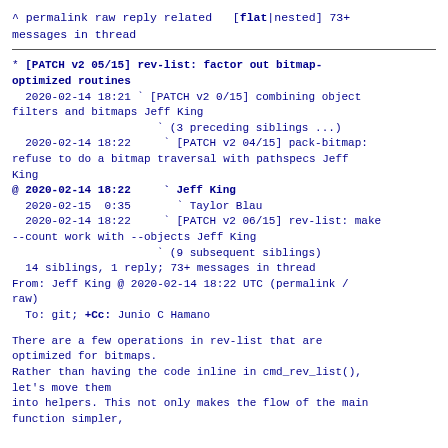^ permalink raw reply related  [flat|nested] 73+ messages in thread
* [PATCH v2 05/15] rev-list: factor out bitmap-optimized routines
  2020-02-14 18:21  ` [PATCH v2 0/15] combining object filters and bitmaps Jeff King
                      ` (3 preceding siblings ...)
  2020-02-14 18:22    ` [PATCH v2 04/15] pack-bitmap: refuse to do a bitmap traversal with pathspecs Jeff King
@ 2020-02-14 18:22    ` Jeff King
  2020-02-15  0:35      ` Taylor Blau
  2020-02-14 18:22    ` [PATCH v2 06/15] rev-list: make --count work with --objects Jeff King
                      ` (9 subsequent siblings)
  14 siblings, 1 reply; 73+ messages in thread
From: Jeff King @ 2020-02-14 18:22 UTC (permalink / raw)
  To: git; +Cc: Junio C Hamano
There are a few operations in rev-list that are optimized for bitmaps.
Rather than having the code inline in cmd_rev_list(), let's move them
into helpers. This not only makes the flow of the main function simpler,